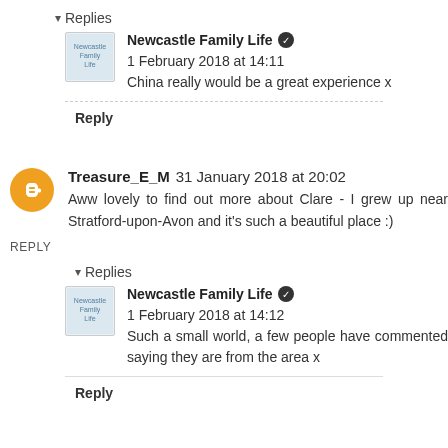▾ Replies
Newcastle Family Life ✔ 1 February 2018 at 14:11
China really would be a great experience x
Reply
Treasure_E_M 31 January 2018 at 20:02
Aww lovely to find out more about Clare - I grew up near Stratford-upon-Avon and it's such a beautiful place :)
REPLY
▾ Replies
Newcastle Family Life ✔ 1 February 2018 at 14:12
Such a small world, a few people have commented saying they are from the area x
Reply